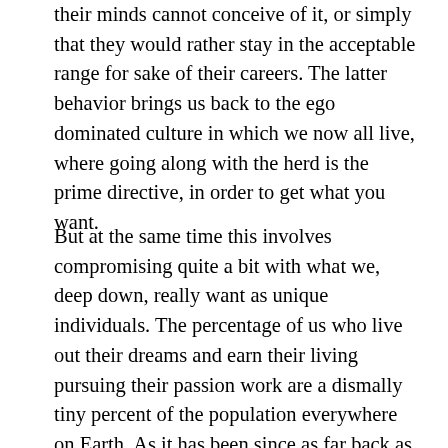their minds cannot conceive of it, or simply that they would rather stay in the acceptable range for sake of their careers. The latter behavior brings us back to the ego dominated culture in which we now all live, where going along with the herd is the prime directive, in order to get what you want.
But at the same time this involves compromising quite a bit with what we, deep down, really want as unique individuals. The percentage of us who live out their dreams and earn their living pursuing their passion work are a dismally tiny percent of the population everywhere on Earth. As it has been since as far back as history remembers. When something has always been a certain way, it is invisible, taken for granted, never even thought about, no alternative ever imagined.